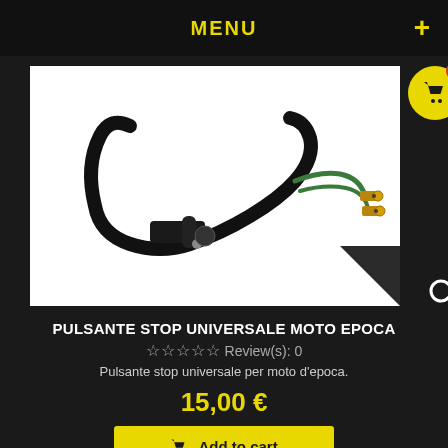MENU
[Figure (photo): Black universal brake/stop switch with wiring harness and connector terminals, for vintage motorcycles, shown on white background.]
PULSANTE STOP UNIVERSALE MOTO EPOCA
☆☆☆☆☆ Review(s): 0
Pulsante stop universale per moto d'epoca.
15,00 €
Add to cart
In Stock